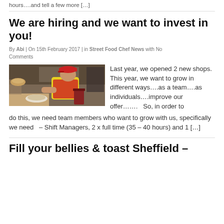hours….and tell a few more […]
We are hiring and we want to invest in you!
By Abi | On 15th February 2017 | in Street Food Chef News with No Comments
[Figure (photo): A person in a yellow shirt and red cap working in a street food kitchen, plating food.]
Last year, we opened 2 new shops. This year, we want to grow in different ways….as a team….as individuals….improve our offer……. So, in order to do this, we need team members who want to grow with us, specifically we need  – Shift Managers, 2 x full time (35 – 40 hours) and 1 […]
Fill your bellies & toast Sheffield –